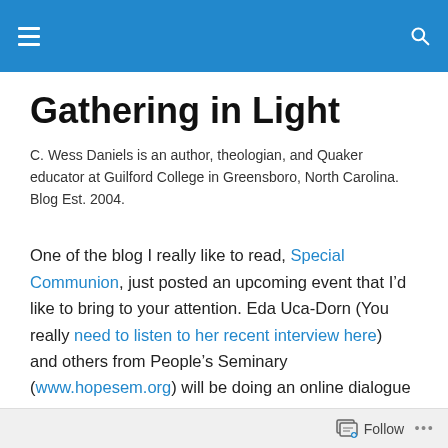Navigation bar with hamburger menu and search icon
Gathering in Light
C. Wess Daniels is an author, theologian, and Quaker educator at Guilford College in Greensboro, North Carolina. Blog Est. 2004.
One of the blog I really like to read, Special Communion, just posted an upcoming event that I’d like to bring to your attention. Eda Uca-Dorn (You really need to listen to her recent interview here)  and others from People’s Seminary (www.hopesem.org) will be doing an online dialogue on building true community. Below is a taste.  For more information follow the links
Follow •••